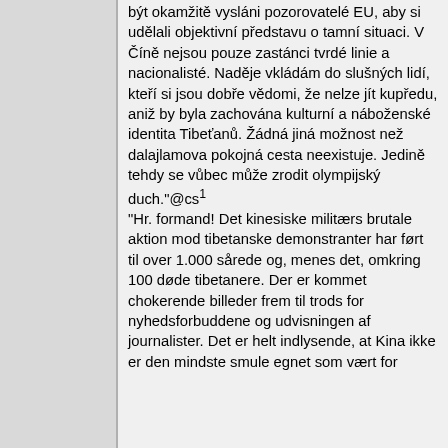být okamžitě vysláni pozorovatelé EU, aby si udělali objektivní představu o tamní situaci. V Číně nejsou pouze zastánci tvrdé linie a nacionalisté. Naděje vkládám do slušných lidí, kteří si jsou dobře vědomi, že nelze jít kupředu, aniž by byla zachována kulturní a náboženské identita Tibeťanů. Žádná jiná možnost než dalajlamova pokojná cesta neexistuje. Jedině tehdy se vůbec může zrodit olympijský duch."@cs¹
"Hr. formand! Det kinesiske militærs brutale aktion mod tibetanske demonstranter har ført til over 1.000 sårede og, menes det, omkring 100 døde tibetanere. Der er kommet chokerende billeder frem til trods for nyhedsforbuddene og udvisningen af journalister. Det er helt indlysende, at Kina ikke er den mindste smule egnet som vært for